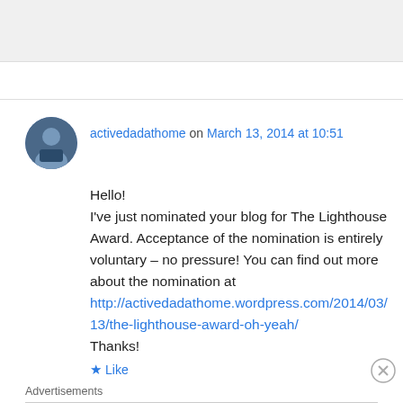[Figure (photo): Gray banner area at top of page]
activedadathome on March 13, 2014 at 10:51
Hello!
I've just nominated your blog for The Lighthouse Award. Acceptance of the nomination is entirely voluntary – no pressure! You can find out more about the nomination at http://activedadathome.wordpress.com/2014/03/13/the-lighthouse-award-oh-yeah/
Thanks!
★ Like
Advertisements
[Figure (photo): MAC Cosmetics advertisement banner showing lipsticks and SHOP NOW button]